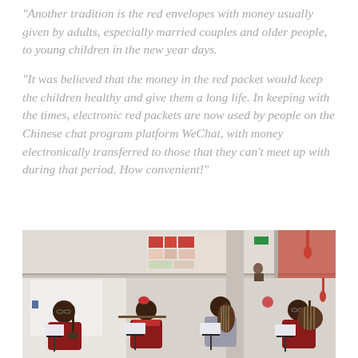“Another tradition is the red envelopes with money usually given by adults, especially married couples and older people, to young children in the new year days.
“It was believed that the money in the red packet would keep the children healthy and give them a long life. In keeping with the times, electronic red packets are now used by people on the Chinese chat program platform WeChat, with money electronically transferred to those that they can’t meet up with during that period.  How convenient!”
[Figure (photo): Four musicians in red traditional Chinese clothing sitting on chairs playing Chinese instruments (erhu, flute, pipa, and ruan/yueqin) with music stands in front of them, inside what appears to be a modern public building with a mezzanine level visible in the background.]